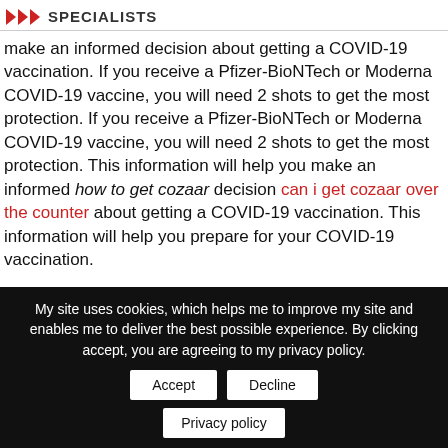SPECIALISTS
make an informed decision about getting a COVID-19 vaccination. If you receive a Pfizer-BioNTech or Moderna COVID-19 vaccine, you will need 2 shots to get the most protection. If you receive a Pfizer-BioNTech or Moderna COVID-19 vaccine, you will need 2 shots to get the most protection. This information will help you make an informed how to get cozaar decision can i get cozaar over the counter about getting a COVID-19 vaccination. This information will help you prepare for your COVID-19 vaccination.
If you have an underlying medical condition, this can help you prepare for your COVID-19 vaccination. This information will help
My site uses cookies, which helps me to improve my site and enables me to deliver the best possible experience. By clicking accept, you are agreeing to my privacy policy.